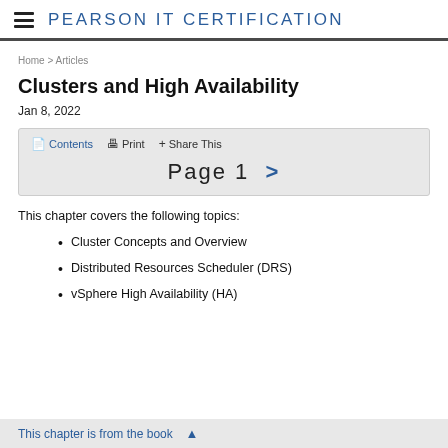PEARSON IT CERTIFICATION
Home > Articles
Clusters and High Availability
Jan 8, 2022
Contents  Print  + Share This
Page 1  >
This chapter covers the following topics:
Cluster Concepts and Overview
Distributed Resources Scheduler (DRS)
vSphere High Availability (HA)
This chapter is from the book